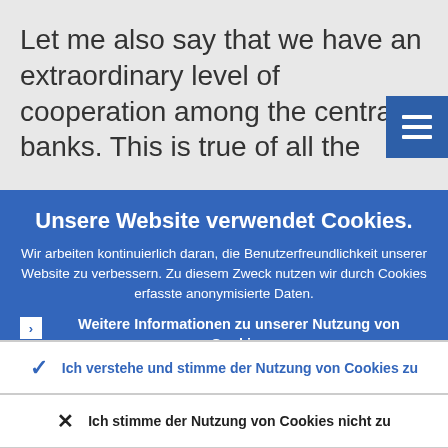Let me also say that we have an extraordinary level of cooperation among the central banks. This is true of all the
[Figure (screenshot): Blue square button with three horizontal white lines (hamburger menu icon)]
Unsere Website verwendet Cookies.
Wir arbeiten kontinuierlich daran, die Benutzerfreundlichkeit unserer Website zu verbessern. Zu diesem Zweck nutzen wir durch Cookies erfasste anonymisierte Daten.
Weitere Informationen zu unserer Nutzung von Cookies
Ich verstehe und stimme der Nutzung von Cookies zu
Ich stimme der Nutzung von Cookies nicht zu